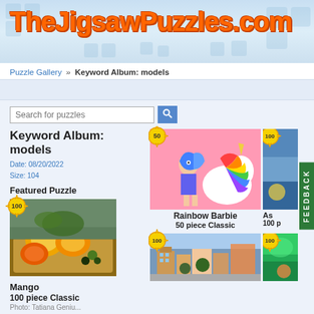[Figure (logo): TheJigsawPuzzles.com website logo with orange text on light blue puzzle piece background]
Puzzle Gallery » Keyword Album: models
Search for puzzles
Keyword Album: models
Date: 08/20/2022
Size: 104
Featured Puzzle
[Figure (photo): Mango fruit on cutting board - featured puzzle image with 100-piece badge]
Mango
100 piece Classic
Photo: Tatiana Geniu...
[Figure (photo): Rainbow Barbie doll with unicorn puzzle image with 50-piece badge]
Rainbow Barbie
50 piece Classic
[Figure (photo): Partially visible puzzle image on right side with 100-piece badge]
As
100 p
[Figure (photo): Street/building scene puzzle thumbnail with 100-piece badge]
[Figure (photo): Colorful/tropical scene puzzle thumbnail with 100-piece badge]